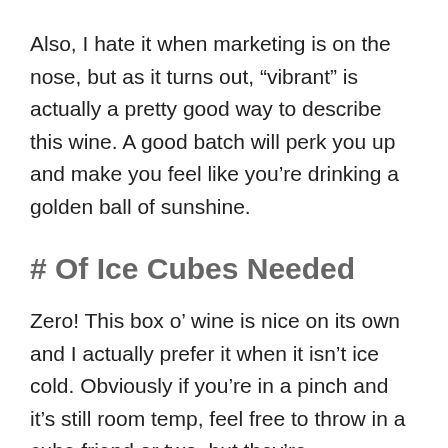Also, I hate it when marketing is on the nose, but as it turns out, “vibrant” is actually a pretty good way to describe this wine. A good batch will perk you up and make you feel like you’re drinking a golden ball of sunshine.
# Of Ice Cubes Needed
Zero! This box o’ wine is nice on its own and I actually prefer it when it isn’t ice cold. Obviously if you’re in a pinch and it’s still room temp, feel free to throw in a cube friend or two, but they’re unnecessary as far as taste is concerned.